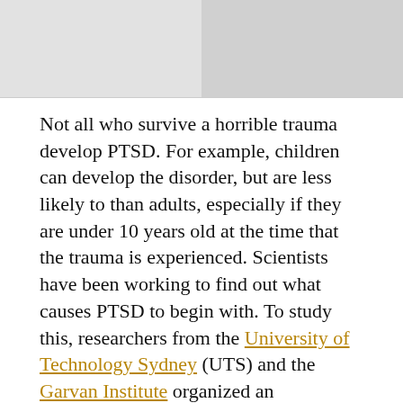[Figure (illustration): Cartoon/illustrated images showing hands drawing or interacting with drawn figures, partial view at top of page]
Not all who survive a horrible trauma develop PTSD. For example, children can develop the disorder, but are less likely to than adults, especially if they are under 10 years old at the time that the trauma is experienced. Scientists have been working to find out what causes PTSD to begin with. To study this, researchers from the University of Technology Sydney (UTS) and the Garvan Institute organized an experiment using mice.
The researchers wanted to see if how the memory was formed had an impact on whether PTSD developed. They employed quick shocks to